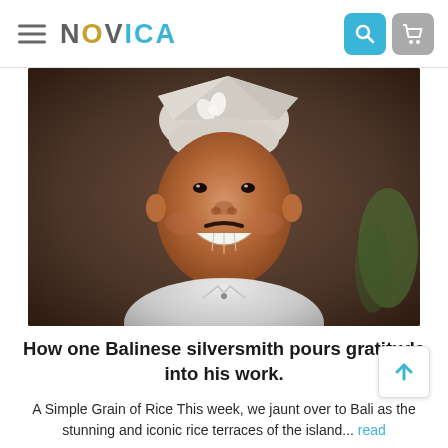NOVICA
[Figure (photo): A smiling Balinese man wearing a traditional white udeng (head cloth) with a white flower, dressed in a white shirt, photographed against a dark earthy background.]
How one Balinese silversmith pours gratitude into his work.
A Simple Grain of Rice This week, we jaunt over to Bali as the stunning and iconic rice terraces of the island... read more